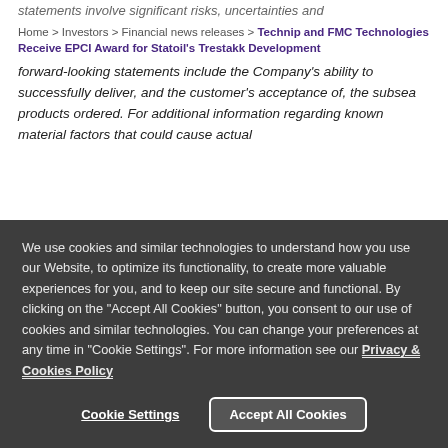statements involve significant risks, uncertainties and
Home > Investors > Financial news releases > Technip and FMC Technologies Receive EPCI Award for Statoil's Trestakk Development
forward-looking statements include the Company's ability to successfully deliver, and the customer's acceptance of, the subsea products ordered. For additional information regarding known material factors that could cause actual
We use cookies and similar technologies to understand how you use our Website, to optimize its functionality, to create more valuable experiences for you, and to keep our site secure and functional. By clicking on the "Accept All Cookies" button, you consent to our use of cookies and similar technologies. You can change your preferences at any time in "Cookie Settings". For more information see our Privacy & Cookies Policy
Cookie Settings
Accept All Cookies